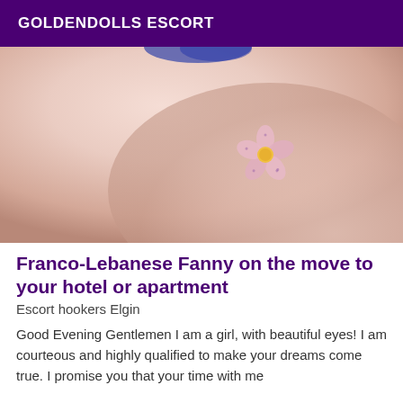GOLDENDOLLS ESCORT
[Figure (photo): Close-up photo of a person's skin with a small pink flower decoration placed on it. The flower has five pink petals and a yellow center.]
Franco-Lebanese Fanny on the move to your hotel or apartment
Escort hookers Elgin
Good Evening Gentlemen I am a girl, with beautiful eyes! I am courteous and highly qualified to make your dreams come true. I promise you that your time with me